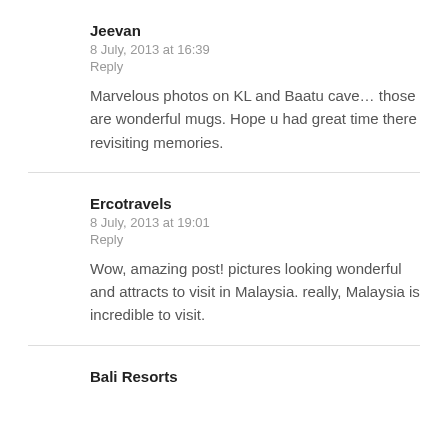Jeevan
8 July, 2013 at 16:39
Reply
Marvelous photos on KL and Baatu cave… those are wonderful mugs. Hope u had great time there revisiting memories.
Ercotravels
8 July, 2013 at 19:01
Reply
Wow, amazing post! pictures looking wonderful and attracts to visit in Malaysia. really, Malaysia is incredible to visit.
Bali Resorts